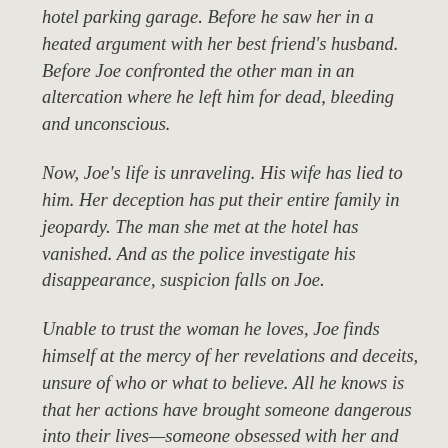hotel parking garage. Before he saw her in a heated argument with her best friend's husband. Before Joe confronted the other man in an altercation where he left him for dead, bleeding and unconscious.
Now, Joe's life is unraveling. His wife has lied to him. Her deception has put their entire family in jeopardy. The man she met at the hotel has vanished. And as the police investigate his disappearance, suspicion falls on Joe.
Unable to trust the woman he loves, Joe finds himself at the mercy of her revelations and deceits, unsure of who or what to believe. All he knows is that her actions have brought someone dangerous into their lives—someone obsessed with her and determined to tear Joe's